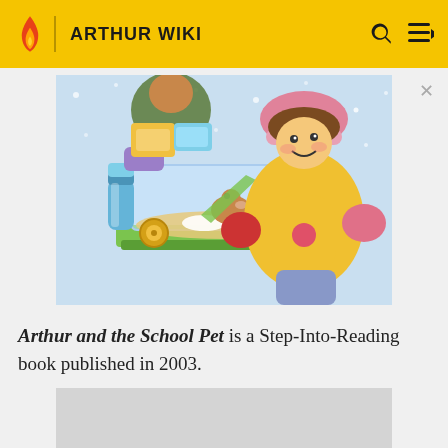ARTHUR WIKI
[Figure (illustration): Book cover illustration of Arthur and the School Pet showing a girl in a yellow jacket and pink hat holding a hamster habitat/cage with a hamster inside, set against a snowy background.]
Arthur and the School Pet is a Step-Into-Reading book published in 2003.
[Figure (photo): Partially visible second image placeholder (light gray rectangle).]